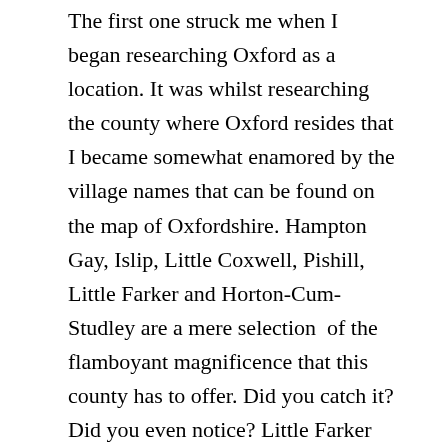The first one struck me when I began researching Oxford as a location.  It was whilst researching the county where Oxford resides that I became somewhat enamored by the village names that can be found on the map of Oxfordshire.  Hampton Gay, Islip, Little Coxwell, Pishill, Little Farker and Horton-Cum-Studley are a mere selection  of the flamboyant magnificence that this county has to offer.  Did you catch it?  Did you even notice?  Little Farker was my creation.  It may surprise you that when I christened Henry Tomlinson’s village Little Farker it wasn’t initially for the purpose of easy jokes.  It was because somehow it fit snugly, like a bug in a rug.
Little Farker wasn’t my only use of poetic license.  England has a somewhat peculiar obsession with pub